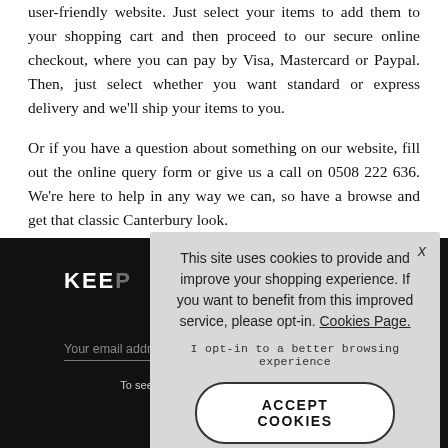user-friendly website. Just select your items to add them to your shopping cart and then proceed to our secure online checkout, where you can pay by Visa, Mastercard or Paypal. Then, just select whether you want standard or express delivery and we'll ship your items to you.
Or if you have a question about something on our website, fill out the online query form or give us a call on 0508 222 636. We're here to help in any way we can, so have a browse and get that classic Canterbury look.
KEEP [UP TO DATE / IN TOUCH]
Sign up to our news[letter]...
Your email addre[ss]
To see h[ow we process your data]
[Figure (screenshot): Cookie consent overlay on a dark footer section. The overlay is grey with text: 'This site uses cookies to provide and improve your shopping experience. If you want to benefit from this improved service, please opt-in. Cookies Page.' An opt-in text and an ACCEPT COOKIES button are shown.]